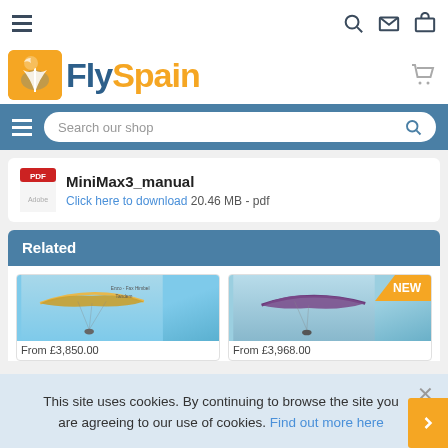FlySpain
MiniMax3_manual
Click here to download 20.46 MB - pdf
Related
[Figure (photo): Paraglider in blue sky]
[Figure (photo): Another paraglider product with NEW badge]
From £3,850.00
From £3,968.00
This site uses cookies. By continuing to browse the site you are agreeing to our use of cookies. Find out more here